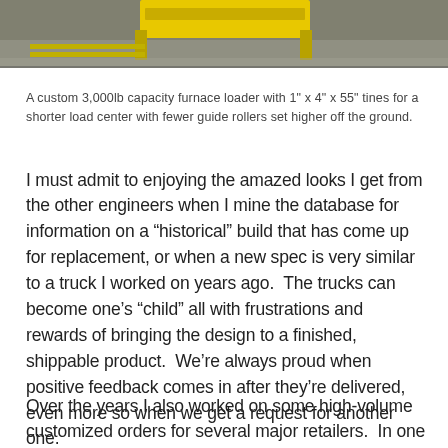[Figure (photo): Partial view of a yellow custom furnace loader machine against a gray background, showing the tine/fork mechanism.]
A custom 3,000lb capacity furnace loader with 1" x 4" x 55" tines for a shorter load center with fewer guide rollers set higher off the ground.
I must admit to enjoying the amazed looks I get from the other engineers when I mine the database for information on a "historical" build that has come up for replacement, or when a new spec is very similar to a truck I worked on years ago.  The trucks can become one’s “child” all with frustrations and rewards of bringing the design to a finished, shippable product.  We’re always proud when positive feedback comes in after they’re delivered, even more so when we get a request for another one.
Over the years I also worked on some high-volume customized orders for several major retailers.  In one case, we created an order picker based on our